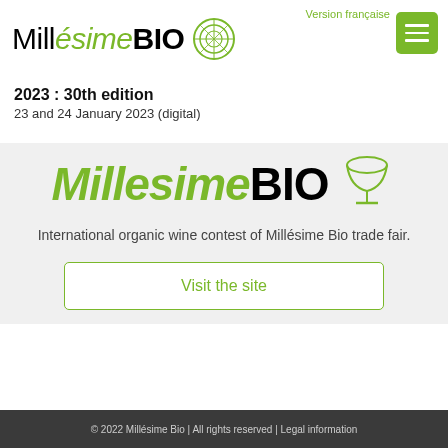[Figure (logo): Millésime BIO logo with circular leaf/grape motif icon]
Version française
2023 : 30th edition
23 and 24 January 2023 (digital)
[Figure (logo): Large Millésime BIO banner logo with wine glass icon]
International organic wine contest of Millésime Bio trade fair.
Visit the site
© 2022 Millésime Bio | All rights reserved | Legal information